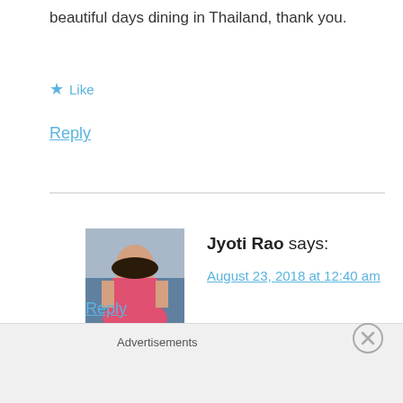beautiful days dining in Thailand, thank you.
★ Like
Reply
[Figure (photo): Profile photo of Jyoti Rao, a woman in a pink top sitting outdoors]
Jyoti Rao says:
August 23, 2018 at 12:40 am
Glad to hear that! ❤ Thank you so much. 🙂
★ Like
Reply
Advertisements